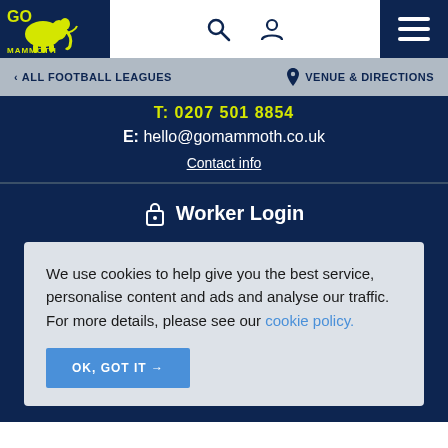Go Mammoth logo, search, user, and menu icons
< ALL FOOTBALL LEAGUES | VENUE & DIRECTIONS
T: 0207 501 8854
E: hello@gomammoth.co.uk
Contact info
Worker Login
We use cookies to help give you the best service, personalise content and ads and analyse our traffic. For more details, please see our cookie policy.
OK, GOT IT →